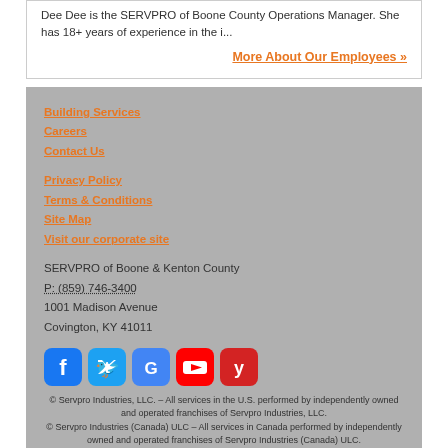Dee Dee is the SERVPRO of Boone County Operations Manager. She has 18+ years of experience in the i...
More About Our Employees »
Building Services
Careers
Contact Us
Privacy Policy
Terms & Conditions
Site Map
Visit our corporate site
SERVPRO of Boone & Kenton County
P: (859) 746-3400
1001 Madison Avenue
Covington, KY 41011
[Figure (other): Social media icons: Facebook, Twitter, Google, YouTube, Yelp]
© Servpro Industries, LLC. – All services in the U.S. performed by independently owned and operated franchises of Servpro Industries, LLC.
© Servpro Industries (Canada) ULC – All services in Canada performed by independently owned and operated franchises of Servpro Industries (Canada) ULC.